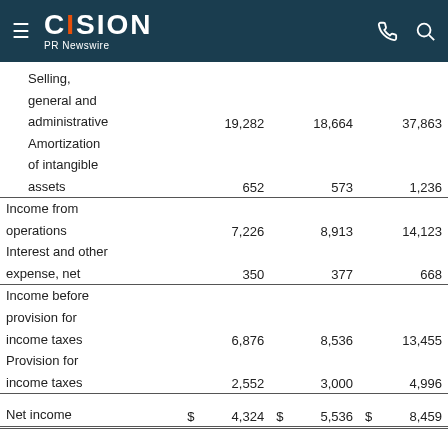CISION PR Newswire
|  | Col1 | Col2 | Col3 |
| --- | --- | --- | --- |
| Selling, general and administrative | 19,282 | 18,664 | 37,863 |
| Amortization of intangible assets | 652 | 573 | 1,236 |
| Income from operations | 7,226 | 8,913 | 14,123 |
| Interest and other expense, net | 350 | 377 | 668 |
| Income before provision for income taxes | 6,876 | 8,536 | 13,455 |
| Provision for income taxes | 2,552 | 3,000 | 4,996 |
| Net income | $ 4,324 | $ 5,536 | $ 8,459 |